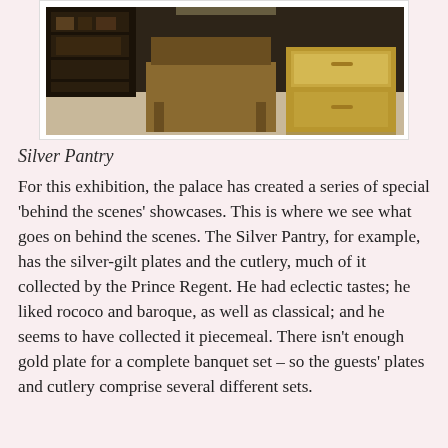[Figure (photo): Interior photograph of a room showing a dark wooden cabinet or desk with an open drawer unit, on a light floor, against a dark background.]
Silver Pantry
For this exhibition, the palace has created a series of special ‘behind the scenes’ showcases. This is where we see what goes on behind the scenes. The Silver Pantry, for example, has the silver-gilt plates and the cutlery, much of it collected by the Prince Regent. He had eclectic tastes; he liked rococo and baroque, as well as classical; and he seems to have collected it piecemeal. There isn’t enough gold plate for a complete banquet set – so the guests’ plates and cutlery comprise several different sets.